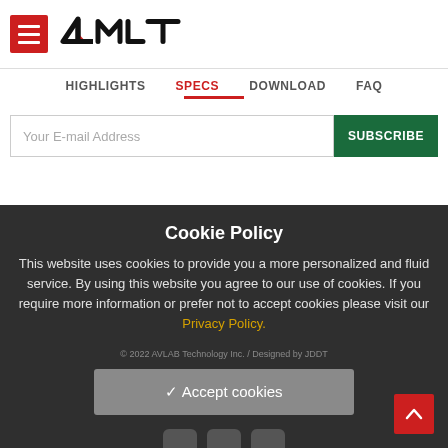[Figure (logo): 4MLT logo with hamburger menu icon in red square on left and stylized 4MLT text logo on right]
HIGHLIGHTS   SPECS   DOWNLOAD   FAQ
Your E-mail Address
SUBSCRIBE
Cookie Policy
This website uses cookies to provide you a more personalized and fluid service. By using this website you agree to our use of cookies. If you require more information or prefer not to accept cookies please visit our Privacy Policy.
© 2022 AVLAB Technology Inc. / Designed by JDDT
✓ Accept cookies